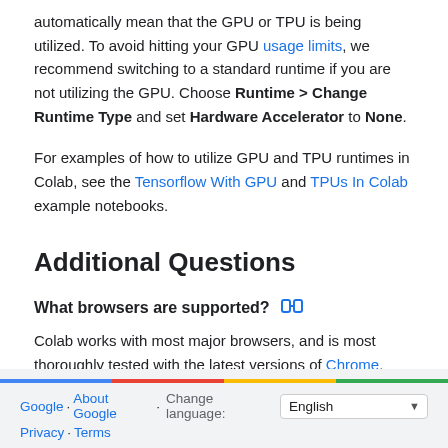automatically mean that the GPU or TPU is being utilized. To avoid hitting your GPU usage limits, we recommend switching to a standard runtime if you are not utilizing the GPU. Choose Runtime > Change Runtime Type and set Hardware Accelerator to None.
For examples of how to utilize GPU and TPU runtimes in Colab, see the Tensorflow With GPU and TPUs In Colab example notebooks.
Additional Questions
What browsers are supported?
Colab works with most major browsers, and is most thoroughly tested with the latest versions of Chrome, Firefox and Safari.
How is this related to colaboratory.jupyter.org?
In 2014 we worked with the Jupyter development team to release an early version of the tool. Since then Colab has continued to evolve.
Google · About Google · Change language: English  Privacy · Terms